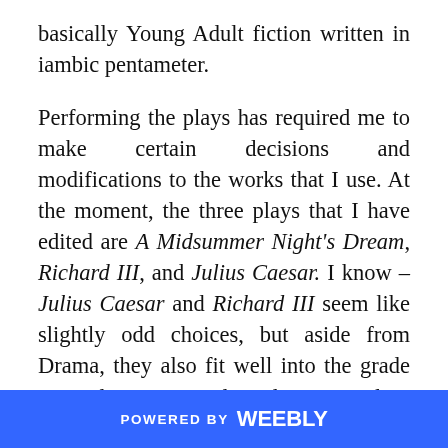basically Young Adult fiction written in iambic pentameter.
Performing the plays has required me to make certain decisions and modifications to the works that I use. At the moment, the three plays that I have edited are A Midsummer Night's Dream, Richard III, and Julius Caesar. I know – Julius Caesar and Richard III seem like slightly odd choices, but aside from Drama, they also fit well into the grade six and seven Social Studies curriculum of Ancient Rome and the Middle Ages. More importantly, they and A Midsummer Night's Dream share something in common: they all have last casts, and enough
POWERED BY weebly